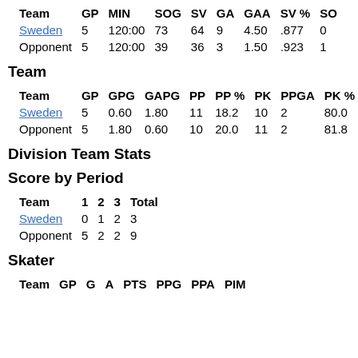| Team | GP | MIN | SOG | SV | GA | GAA | SV % | SO |
| --- | --- | --- | --- | --- | --- | --- | --- | --- |
| Sweden | 5 | 120:00 | 73 | 64 | 9 | 4.50 | .877 | 0 |
| Opponent | 5 | 120:00 | 39 | 36 | 3 | 1.50 | .923 | 1 |
Team
| Team | GP | GPG | GAPG | PP | PP % | PK | PPGA | PK % |
| --- | --- | --- | --- | --- | --- | --- | --- | --- |
| Sweden | 5 | 0.60 | 1.80 | 11 | 18.2 | 10 | 2 | 80.0 |
| Opponent | 5 | 1.80 | 0.60 | 10 | 20.0 | 11 | 2 | 81.8 |
Division Team Stats
Score by Period
| Team | 1 | 2 | 3 | Total |
| --- | --- | --- | --- | --- |
| Sweden | 0 | 1 | 2 | 3 |
| Opponent | 5 | 2 | 2 | 9 |
Skater
| Team | GP | G | A | PTS | PPG | PPA | PIM |
| --- | --- | --- | --- | --- | --- | --- | --- |